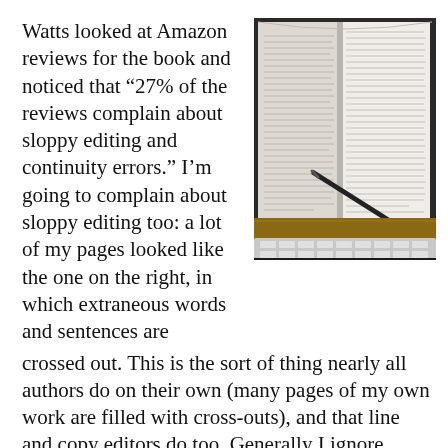Watts looked at Amazon reviews for the book and noticed that “27% of the reviews complain about sloppy editing and continuity errors.” I’m going to complain about sloppy editing too: a lot of my pages looked like the one on the right, in which extraneous words and sentences are
[Figure (photo): A photograph of an open book with text, a pen resting on the pages, and a keyboard visible at the bottom. The book appears to show a novel's text pages.]
crossed out. This is the sort of thing nearly all authors do on their own (many pages of my own work are filled with cross-outs), and that line and copy editors do too. Generally I ignore extraneous sentences in novels,